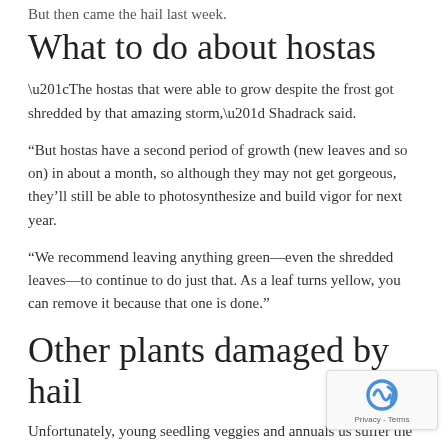But then came the hail last week.
What to do about hostas
“The hostas that were able to grow despite the frost got shredded by that amazing storm,” Shadrack said.
“But hostas have a second period of growth (new leaves and so on) in about a month, so although they may not get gorgeous, they’ll still be able to photosynthesize and build vigor for next year.
“We recommend leaving anything green—even the shredded leaves—to continue to do just that. As a leaf turns yellow, you can remove it because that one is done.”
Other plants damaged by hail
Unfortunately, young seedling veggies and annuals us suffer the most damage from hail, said John Farfaglia,